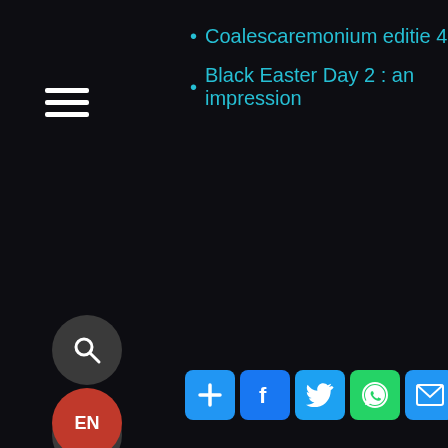Coalescaremonium editie 4
Black Easter Day 2 : an impression
[Figure (infographic): Navigation UI with hamburger menu, search button, grid button, rewind button, fast-forward button, social share icons (add, facebook, twitter, whatsapp, email, pinterest), and language selector EN button on dark background]